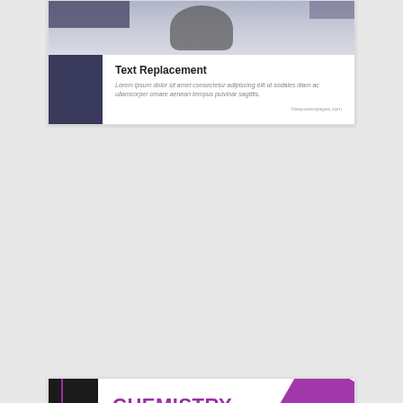[Figure (illustration): Book/presentation cover card with dark sidebar and placeholder image at top showing blurred circular object and geometric rectangles in dark blue/gray tones]
Text Replacement
Lorem ipsum dolor sit amet consectetur adipiscing elit ut sodales diam ac ullamcorper ornare aenean tempus pulvinar sagittis.
freepowerpages.com
[Figure (illustration): Chemistry textbook cover with black sidebar showing 'EDITION ONE' vertical text and purple geometric diamond shapes on white background]
CHEMISTRY
WITH LOREM IPSUM
Lorem ipsum
dolor site amet replacement text